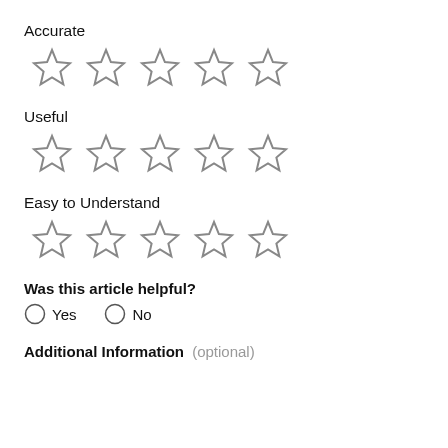Accurate
[Figure (other): Five empty star rating icons in a row for Accurate]
Useful
[Figure (other): Five empty star rating icons in a row for Useful]
Easy to Understand
[Figure (other): Five empty star rating icons in a row for Easy to Understand]
Was this article helpful?
Yes
No
Additional Information (optional)